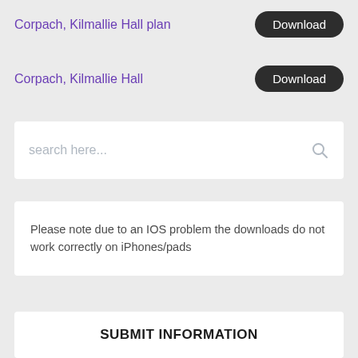Corpach, Kilmallie Hall plan   Download
Corpach, Kilmallie Hall   Download
search here...
Please note due to an IOS problem the downloads do not work correctly on iPhones/pads
SUBMIT INFORMATION